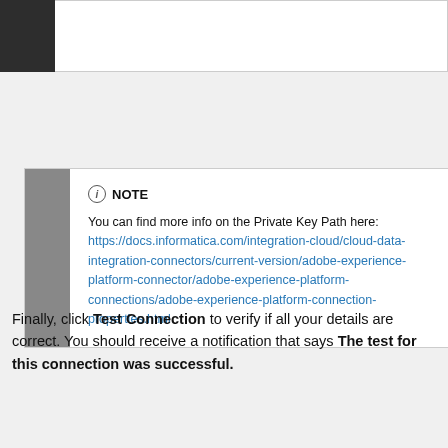[Figure (screenshot): Top portion of a dark-themed application UI with dark sidebar and white content area]
NOTE
You can find more info on the Private Key Path here: https://docs.informatica.com/integration-cloud/cloud-data-integration-connectors/current-version/adobe-experience-platform-connector/adobe-experience-platform-connections/adobe-experience-platform-connection-properties.html
Finally, click Test Connection to verify if all your details are correct. You should receive a notification that says The test for this connection was successful.
[Figure (screenshot): Bottom portion of a dark-themed application UI showing a success notification bar]